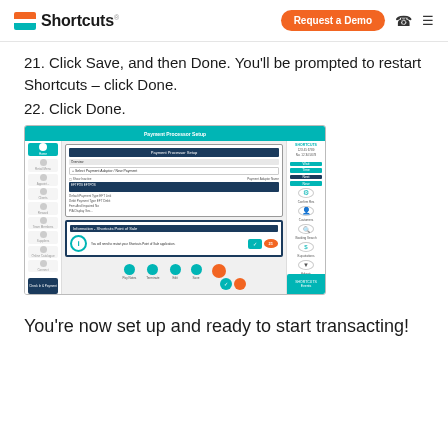Shortcuts | Request a Demo
21. Click Save, and then Done. You'll be prompted to restart Shortcuts – click Done.
22. Click Done.
[Figure (screenshot): Screenshot of Shortcuts software showing the Payment Processor Setup dialog with an information popup asking the user to restart Shortcuts Point of Sale, with a teal checkmark button and orange Done button.]
You're now set up and ready to start transacting!